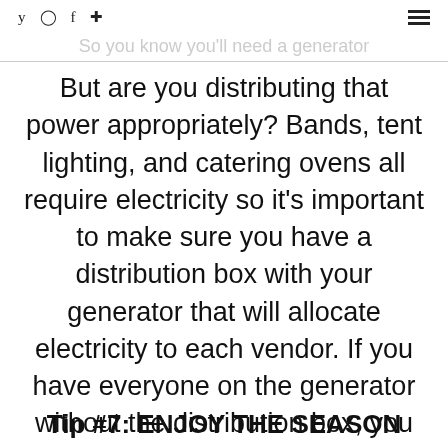y  ©  f  ® ≡
So you know you'll need a generator
But are you distributing that power appropriately? Bands, tent lighting, and catering ovens all require electricity so it's important to make sure you have a distribution box with your generator that will allocate electricity to each vendor. If you have everyone on the generator without the distribution box, you run the risk of surging and causing a power outage.
Tip #7: ENJOY THE SEASON